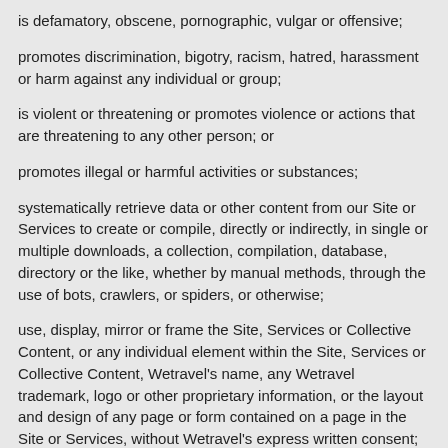is defamatory, obscene, pornographic, vulgar or offensive;
promotes discrimination, bigotry, racism, hatred, harassment or harm against any individual or group;
is violent or threatening or promotes violence or actions that are threatening to any other person; or
promotes illegal or harmful activities or substances;
systematically retrieve data or other content from our Site or Services to create or compile, directly or indirectly, in single or multiple downloads, a collection, compilation, database, directory or the like, whether by manual methods, through the use of bots, crawlers, or spiders, or otherwise;
use, display, mirror or frame the Site, Services or Collective Content, or any individual element within the Site, Services or Collective Content, Wetravel's name, any Wetravel trademark, logo or other proprietary information, or the layout and design of any page or form contained on a page in the Site or Services, without Wetravel's express written consent;
access, tamper with, or use non-public areas of the Site or Services, Wetravel's computer systems, or the technical delivery systems of Wetravel's providers;
attempt to probe, scan, or test the vulnerability of any Wetravel system or network or breach any security or authentication